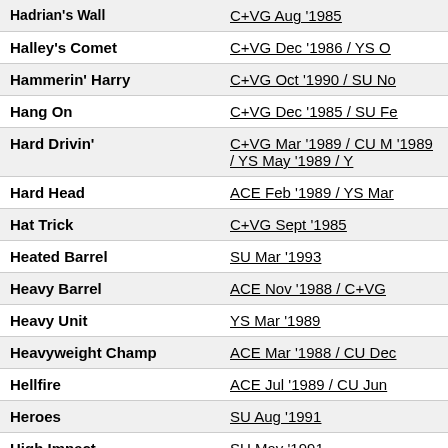| Game | Reviews |
| --- | --- |
| Hadrian's Wall | C+VG Aug '1985 |
| Halley's Comet | C+VG Dec '1986 / YS O… |
| Hammerin' Harry | C+VG Oct '1990 / SU No… |
| Hang On | C+VG Dec '1985 / SU Fe… |
| Hard Drivin' | C+VG Mar '1989 / CU M… '1989 / YS May '1989 / Y… |
| Hard Head | ACE Feb '1989 / YS Mar… |
| Hat Trick | C+VG Sept '1985 |
| Heated Barrel | SU Mar '1993 |
| Heavy Barrel | ACE Nov '1988 / C+VG … |
| Heavy Unit | YS Mar '1989 |
| Heavyweight Champ | ACE Mar '1988 / CU Dec… |
| Hellfire | ACE Jul '1989 / CU Jun … |
| Heroes | SU Aug '1991 |
| High Impact | SU May '1991 |
| Hit The Ice | ZZAP!64 Aug '1991 |
| Hogan's Alley | C+VG Sept '1985 |